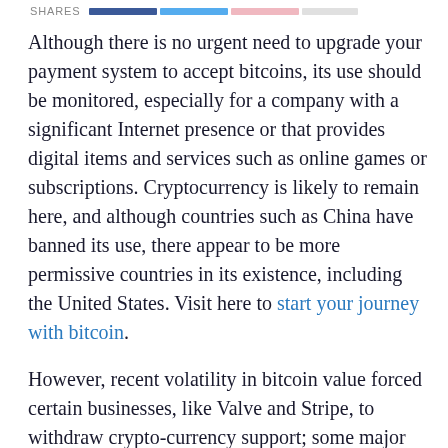SHARES
Although there is no urgent need to upgrade your payment system to accept bitcoins, its use should be monitored, especially for a company with a significant Internet presence or that provides digital items and services such as online games or subscriptions. Cryptocurrency is likely to remain here, and although countries such as China have banned its use, there appear to be more permissive countries in its existence, including the United States. Visit here to start your journey with bitcoin.
However, recent volatility in bitcoin value forced certain businesses, like Valve and Stripe, to withdraw crypto-currency support; some major corporations started payment for products and services in bitcoin. Nevertheless, numerous companies still take